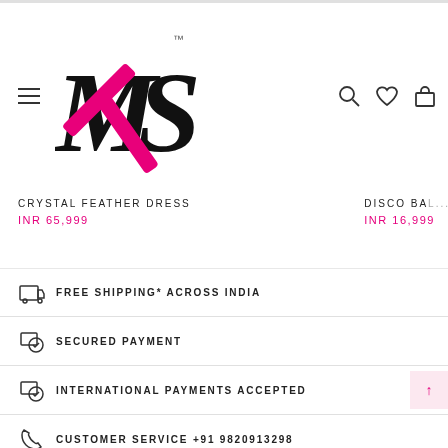[Figure (logo): MXS fashion brand logo with pink X]
CRYSTAL FEATHER DRESS
INR 65,999
DISCO BA...
INR 16,999
FREE SHIPPING* ACROSS INDIA
SECURED PAYMENT
INTERNATIONAL PAYMENTS ACCEPTED
CUSTOMER SERVICE +91 9820913298